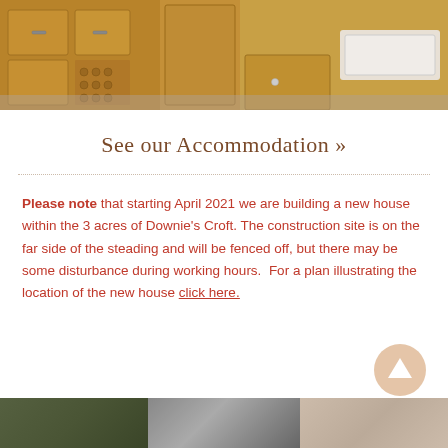[Figure (photo): Kitchen interior with wooden cabinets, wine rack, and farmhouse sink]
See our Accommodation »
Please note that starting April 2021 we are building a new house within the 3 acres of Downie's Croft. The construction site is on the far side of the steading and will be fenced off, but there may be some disturbance during working hours.  For a plan illustrating the location of the new house click here.
[Figure (photo): Bottom strip of three small thumbnail photos]